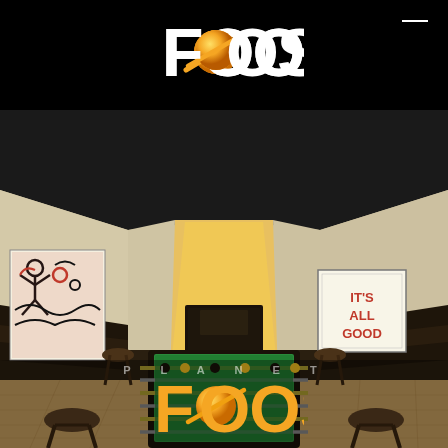[Figure (logo): Planet FOOS logo in white with orange/yellow planet graphic on the letter O, displayed at top on black background]
[Figure (photo): Interior room with a foosball table in the center on light hardwood floors, dark wainscoting along walls, bar stools, a framed Keith Haring-style artwork on the left wall, a dark TV/cabinet on the back wall lit with warm yellow light, and a framed 'IT'S ALL GOOD' sign on the right wall]
PLANET
[Figure (logo): Planet FOOS logo in gold/yellow with orange/yellow planet graphic on the letter O, overlaid on the bottom of the room photo]